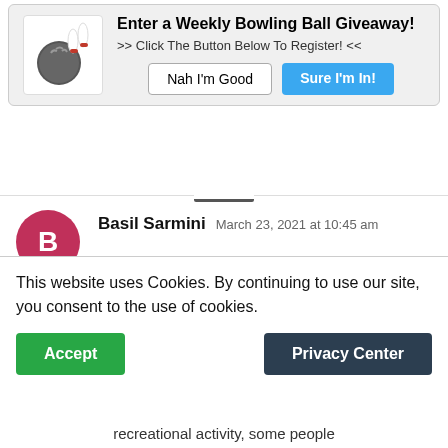[Figure (screenshot): Bowling ball giveaway popup with bowling ball and pins icon, bold title, subtitle, and two buttons: 'Nah I'm Good' and 'Sure I'm In!']
Basil Sarmini  March 23, 2021 at 10:45 am
@Thomas Setear the skills used in bowling are overwhelmingly mental.
ATTENTION REQUIRED
This website uses Cookies. By continuing to use our site, you consent to the use of cookies.
recreational activity, some people